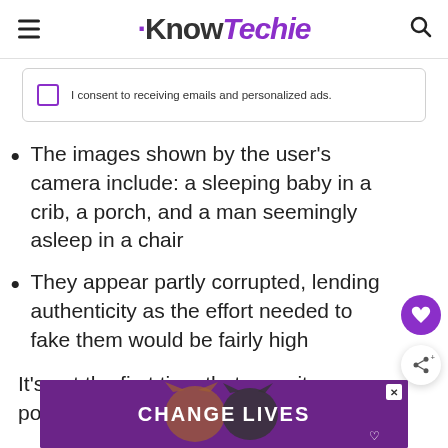KnowTechie
I consent to receiving emails and personalized ads.
The images shown by the user’s camera include: a sleeping baby in a crib, a porch, and a man seemingly asleep in a chair
They appear partly corrupted, lending authenticity as the effort needed to fake them would be fairly high
It’s not the first time that security ca… power.
[Figure (screenshot): Advertisement banner reading CHANGE LIVES with cat images on purple background]